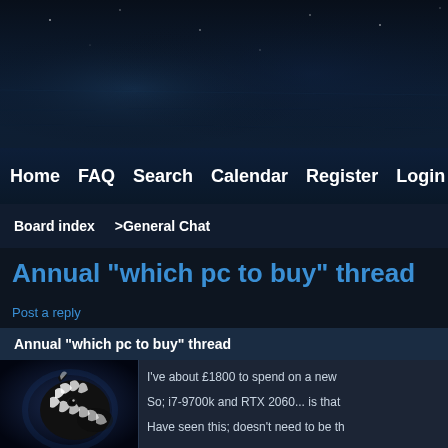[Figure (screenshot): Dark themed forum banner with atmospheric night sky/water background]
Home   FAQ   Search   Calendar   Register   Login
Board index  >General Chat
Annual "which pc to buy" thread
Post a reply
Annual "which pc to buy" thread
[Figure (photo): Stylized glowing zebra head portrait on dark background]
I've about £1800 to spend on a new
So; i7-9700k and RTX 2060... is that
Have seen this; doesn't need to be th